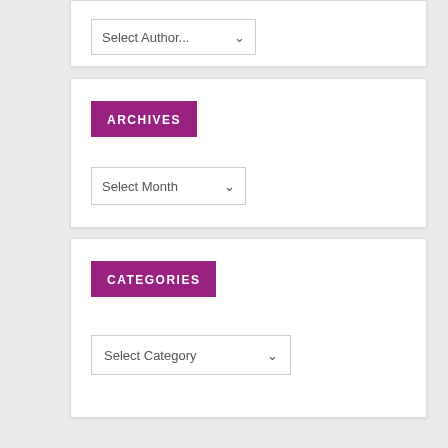Select Author...
ARCHIVES
Select Month
CATEGORIES
Select Category